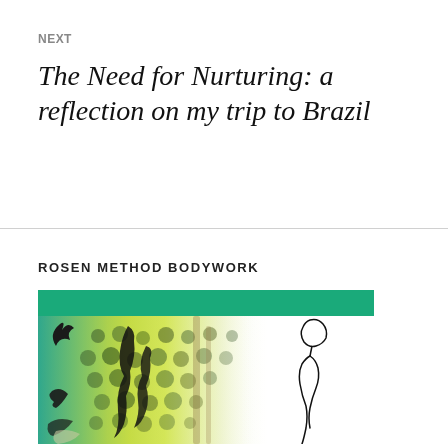NEXT
The Need for Nurturing: a reflection on my trip to Brazil
ROSEN METHOD BODYWORK
[Figure (illustration): Green teal horizontal banner bar followed by an artistic illustration combining abstract painted background in yellow-green with dark circular dot patterns and black brushstroke figures, alongside a line-drawn silhouette of a human figure profile on white background]